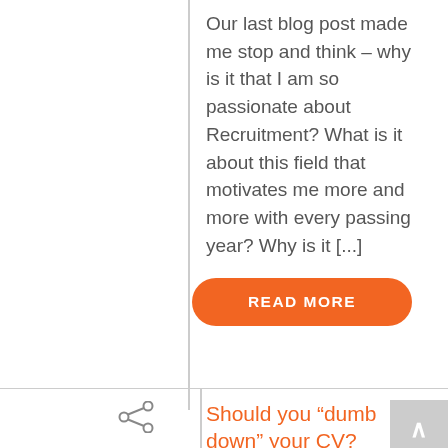Our last blog post made me stop and think – why is it that I am so passionate about Recruitment? What is it about this field that motivates me more and more with every passing year? Why is it [...]
READ MORE
Should you “dumb down” your CV?
A loyal reader asks: “I’m looking for part-time opportunities and I’m facing